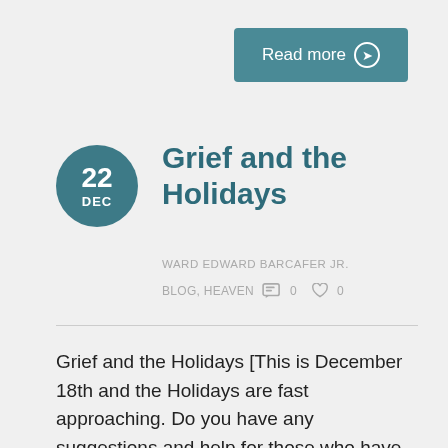[Figure (other): Read more button with arrow circle icon]
Grief and the Holidays
WARD EDWARD BARCAFER JR.
BLOG, HEAVEN  0  0
Grief and the Holidays [This is December 18th and the Holidays are fast approaching. Do you have any suggestions and help for those who have lost loved ones to get through the Holidays?] Sue: One of the